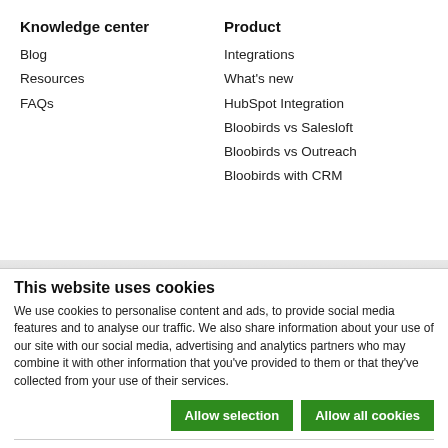Knowledge center
Blog
Resources
FAQs
Product
Integrations
What's new
HubSpot Integration
Bloobirds vs Salesloft
Bloobirds vs Outreach
Bloobirds with CRM
Company
Bloobirds
This website uses cookies
We use cookies to personalise content and ads, to provide social media features and to analyse our traffic. We also share information about your use of our site with our social media, advertising and analytics partners who may combine it with other information that you've provided to them or that they've collected from your use of their services.
Allow selection | Allow all cookies
Necessary  Preferences  Statistics  Marketing  Show details